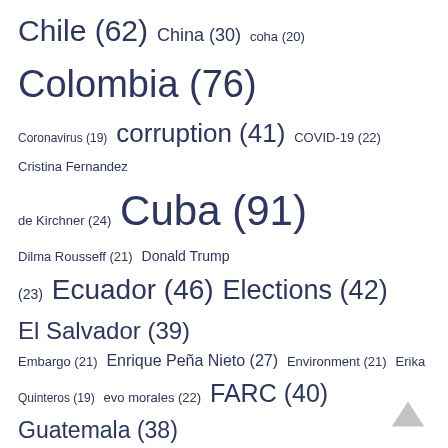[Figure (infographic): Tag cloud of topics related to Latin American affairs with counts indicating frequency. Terms shown in varying font sizes proportional to their counts, in dark navy/blue color.]